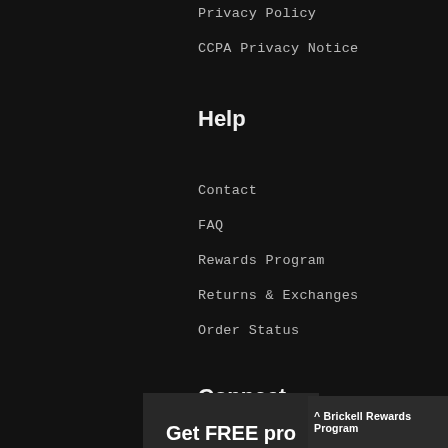Privacy Policy
CCPA Privacy Notice
Help
Contact
FAQ
Rewards Program
Returns & Exchanges
Order Status
Connect
[Figure (illustration): Facebook social media icon - blue circle with white f logo]
[Figure (illustration): Twitter social media icon - blue circle with white bird logo]
[Figure (illustration): Instagram social media icon - red circle with white camera logo]
Get FREE pro
^ Brickell Rewards Program